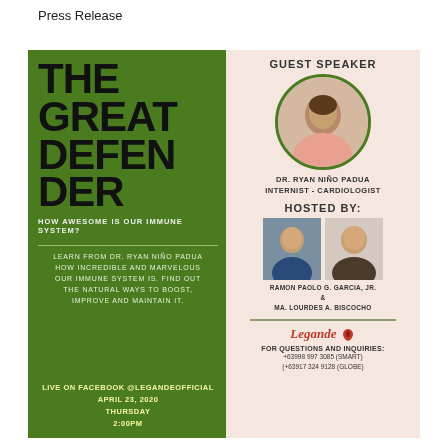Press Release
[Figure (infographic): Event flyer for 'The Great Defender' webinar about the immune system. Left green panel has event title, subtitle 'How Awesome Is Our Immune System?', description text, and Facebook live details for April 23, 2020 Thursday 2:00PM. Right pink panel shows guest speaker Dr. Ryan Niño Padua (Internist-Cardiologist) with circular photo, and hosted by Ramon Paolo G. Garcia, Jr. & Ma. Lourdes A. Biscocho, with Legande logo and contact info.]